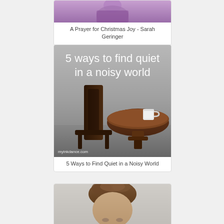[Figure (photo): Woman in purple sparkly top, partially visible at top of page]
A Prayer for Christmas Joy - Sarah Geringer
[Figure (photo): Photo of a wooden chair and round wooden table with a white mug on top, with text overlay '5 ways to find quiet in a noisy world' and watermark 'myinkdance.com']
5 Ways to Find Quiet in a Noisy World
[Figure (photo): Close-up photo of a person with short brown hair, partially visible at bottom of page]